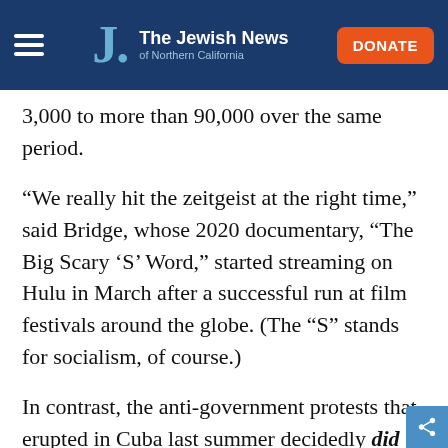The Jewish News of Northern California
3,000 to more than 90,000 over the same period.
“We really hit the zeitgeist at the right time,” said Bridge, whose 2020 documentary, “The Big Scary ‘S’ Word,” started streaming on Hulu in March after a successful run at film festivals around the globe. (The “S” stands for socialism, of course.)
In contrast, the anti-government protests that erupted in Cuba last summer decidedly did not play into her hand after she shot footage there in 2014 for a documentary about the city of Guantanamo’s tiny Jewish community. “At the time I filmed, there was not a sense of Cuba being